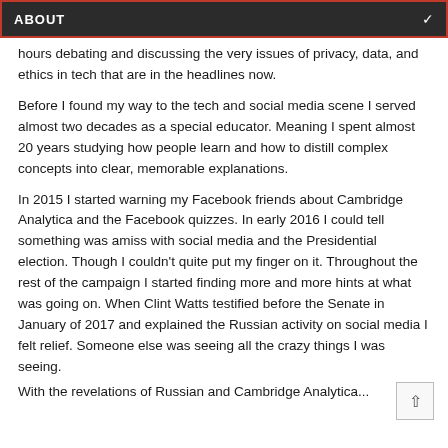ABOUT
hours debating and discussing the very issues of privacy, data, and ethics in tech that are in the headlines now.
Before I found my way to the tech and social media scene I served almost two decades as a special educator. Meaning I spent almost 20 years studying how people learn and how to distill complex concepts into clear, memorable explanations.
In 2015 I started warning my Facebook friends about Cambridge Analytica and the Facebook quizzes. In early 2016 I could tell something was amiss with social media and the Presidential election. Though I couldn't quite put my finger on it. Throughout the rest of the campaign I started finding more and more hints at what was going on. When Clint Watts testified before the Senate in January of 2017 and explained the Russian activity on social media I felt relief. Someone else was seeing all the crazy things I was seeing.
With the revelations of Russian and Cambridge Analytica...